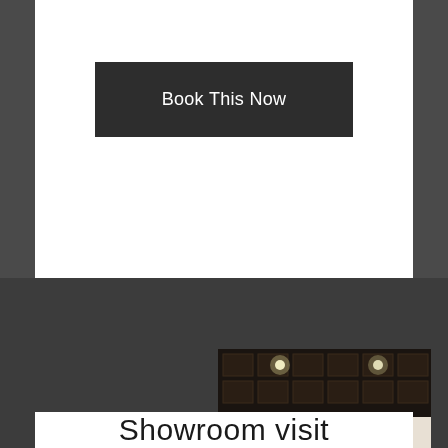Book This Now
[Figure (photo): Interior showroom photo featuring a dark coffered ceiling with recessed lighting, colorful chairs (blue, red, yellow) displayed in black metal frame shelving units mounted on a wall with bold black-and-white tropical leaf mural wallpaper, and a dark office chair in the foreground]
Showroom visit